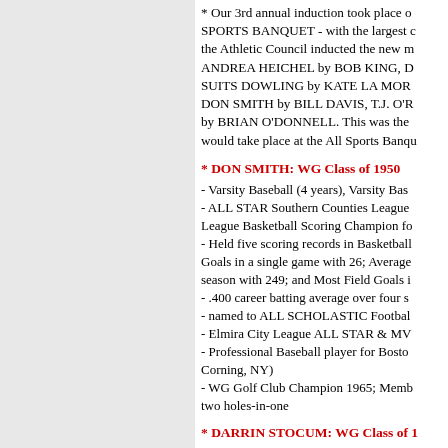* Our 3rd annual induction took place o... SPORTS BANQUET - with the largest c... the Athletic Council inducted the new m... ANDREA HEICHEL by BOB KING, D... SUITS DOWLING by KATE LA MOR... DON SMITH by BILL DAVIS, T.J. O'R... by BRIAN O'DONNELL. This was the ... would take place at the All Sports Banqu...
* DON SMITH: WG Class of 1950
- Varsity Baseball (4 years), Varsity Bas... - ALL STAR Southern Counties League... League Basketball Scoring Champion fo... - Held five scoring records in Basketball... Goals in a single game with 26; Average... season with 249; and Most Field Goals i... - .400 career batting average over four s... - named to ALL SCHOLASTIC Footbal... - Elmira City League ALL STAR & MV... - Professional Baseball player for Bosto... Corning, NY) - WG Golf Club Champion 1965; Memb... two holes-in-one
* DARRIN STOCUM: WG Class of 1...